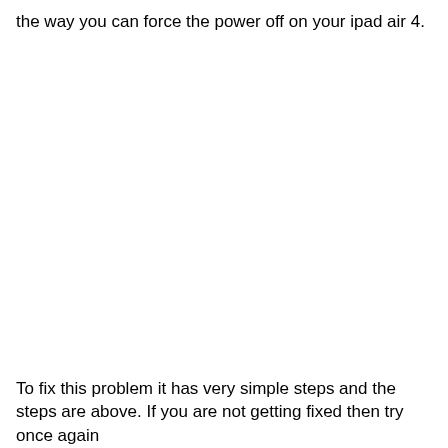the way you can force the power off on your ipad air 4.
To fix this problem it has very simple steps and the steps are above. If you are not getting fixed then try once again